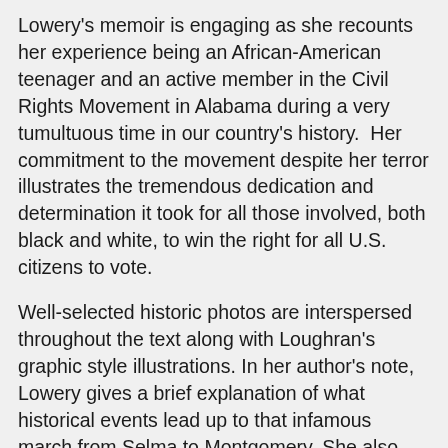Lowery's memoir is engaging as she recounts her experience being an African-American teenager and an active member in the Civil Rights Movement in Alabama during a very tumultuous time in our country's history.  Her commitment to the movement despite her terror illustrates the tremendous dedication and determination it took for all those involved, both black and white, to win the right for all U.S. citizens to vote.
Well-selected historic photos are interspersed throughout the text along with Loughran's graphic style illustrations. In her author's note, Lowery gives a brief explanation of what historical events lead up to that infamous march from Selma to Montgomery. She also includes brief bios of three who lost their lives days before or after Bloody Sunday.
Listen to an interview with Lynda Blackmon Lowery on npr.org.
Lowery states: We were determined to do something and we did it. If you are determined, you can overcome your fears, and then you can change the world.